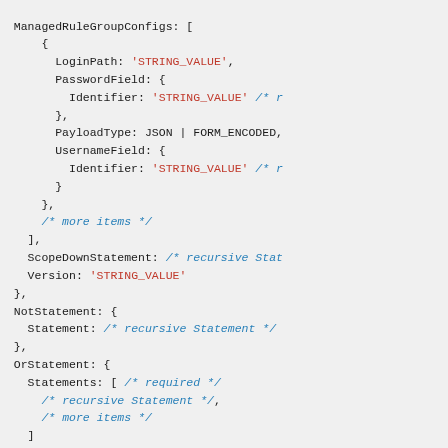Code snippet showing JSON/config structure with ManagedRuleGroupConfigs, LoginPath, PasswordField, Identifier, PayloadType, UsernameField, ScopeDownStatement, Version, NotStatement, OrStatement, RateBasedStatement fields